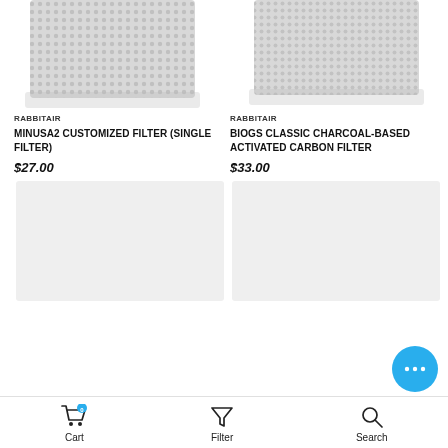[Figure (photo): Top portion of a RabbitAir MINUSA2 air filter product image, showing a rectangular white/silver textured filter panel against white background]
RABBITAIR
MINUSA2 CUSTOMIZED FILTER (single filter)
$27.00
[Figure (photo): Top portion of a RabbitAir BioGS air filter product image, showing a rectangular white/silver textured filter panel against white background]
RABBITAIR
BIOGS CLASSIC CHARCOAL-BASED ACTIVATED CARBON FILTER
$33.00
[Figure (photo): Light gray placeholder rectangle for a product image in the bottom left]
[Figure (photo): Light gray placeholder rectangle for a product image in the bottom right]
Cart  Filter  Search